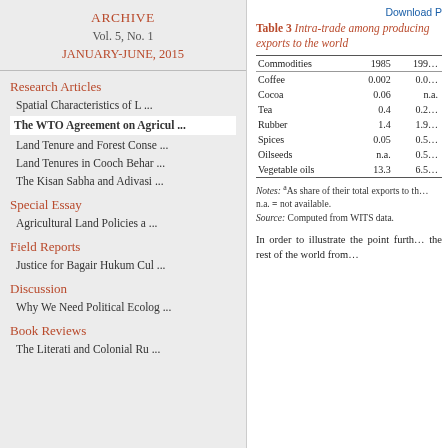ARCHIVE
Vol. 5, No. 1
JANUARY-JUNE, 2015
Research Articles
Spatial Characteristics of L ...
The WTO Agreement on Agricul ...
Land Tenure and Forest Conse ...
Land Tenures in Cooch Behar ...
The Kisan Sabha and Adivasi ...
Special Essay
Agricultural Land Policies a ...
Field Reports
Justice for Bagair Hukum Cul ...
Discussion
Why We Need Political Ecolog ...
Book Reviews
The Literati and Colonial Ru ...
Download P
Table 3 Intra-trade among producing exports to the world
| Commodities | 1985 | 199... |
| --- | --- | --- |
| Coffee | 0.002 | 0.0... |
| Cocoa | 0.06 | n.a. |
| Tea | 0.4 | 0.2... |
| Rubber | 1.4 | 1.9... |
| Spices | 0.05 | 0.5... |
| Oilseeds | n.a. | 0.5... |
| Vegetable oils | 13.3 | 6.5... |
Notes: aAs share of their total exports to the... n.a. = not available. Source: Computed from WITS data.
In order to illustrate the point furth... the rest of the world from...